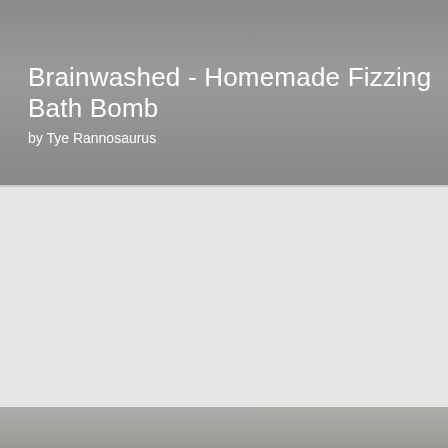Brainwashed - Homemade Fizzing Bath Bomb
by Tye Rannosaurus
[Figure (photo): Large placeholder image area for the bath bomb project, light gray background with a small broken image icon in the center]
Hidden Key Soap
by curry3